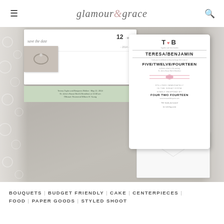glamour & grace
[Figure (photo): Flat lay photograph of wedding stationery suite including a save the date card, a formal wedding invitation with monogram T♥B for Teresa/Benjamin, pink twine ribbon decoration, and a white envelope, arranged on a lace and wood background.]
BOUQUETS | BUDGET FRIENDLY | CAKE | CENTERPIECES | FOOD | PAPER GOODS | STYLED SHOOT